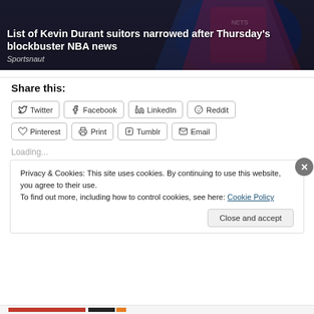[Figure (photo): Hero image of Kevin Durant in Brooklyn Nets jersey with article title overlay]
List of Kevin Durant suitors narrowed after Thursday's blockbuster NBA news
Sportsnaut
Share this:
Twitter
Facebook
LinkedIn
Reddit
Pinterest
Print
Tumblr
Email
Loading...
Privacy & Cookies: This site uses cookies. By continuing to use this website, you agree to their use.
To find out more, including how to control cookies, see here: Cookie Policy